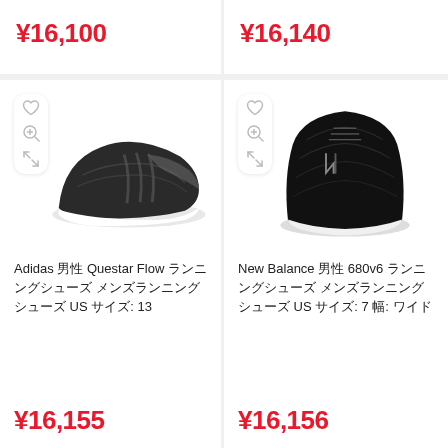¥16,100
¥16,140
[Figure (photo): Adidas Questar Flow sneaker, black and grey knit upper with white sole, side profile view]
Adidas 男性 Questar Flow ランニングシューズ メンズランニングシューズ US サイズ: 13
¥16,155
[Figure (photo): New Balance 680v6 sneaker, black mesh upper with white sole, front view]
New Balance 男性 680v6 ランニングシューズ メンズランニングシューズ US サイズ: 7 幅: ワイド
¥16,156